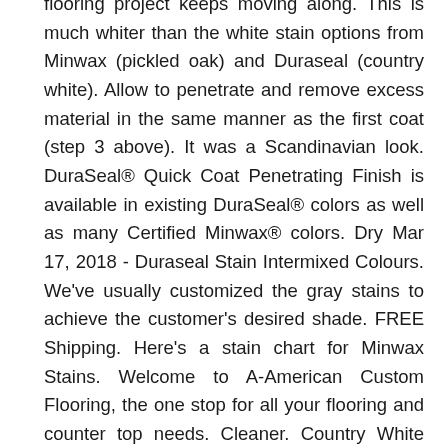flooring project keeps moving along. This is much whiter than the white stain options from Minwax (pickled oak) and Duraseal (country white). Allow to penetrate and remove excess material in the same manner as the first coat (step 3 above). It was a Scandinavian look. DuraSeal® Quick Coat Penetrating Finish is available in existing DuraSeal® colors as well as many Certified Minwax® colors. Dry Mar 17, 2018 - Duraseal Stain Intermixed Colours. We've usually customized the gray stains to achieve the customer's desired shade. FREE Shipping. Here's a stain chart for Minwax Stains. Welcome to A-American Custom Flooring, the one stop for all your flooring and counter top needs. Cleaner. Country White Stain, Quart Container. To avoid overexposure, open windows and doors or use other means to ensure fresh air entry during application and drying. This product is formulated to seal, color and provide exceptional durability ... Dura Seal Quick Coat Penetrating Finish Wood Stain designed